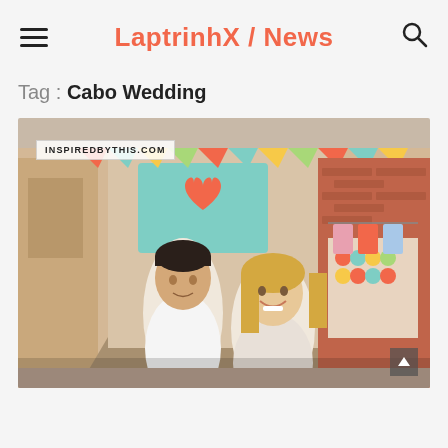LaptrinhX / News
Tag : Cabo Wedding
[Figure (photo): A couple walking together on a colorful street in Cabo, with decorated storefronts including a teal awning with a painted heart. The man is in a white shirt looking at the blonde woman who is smiling. A watermark reads INSPIREDBYTHIS.COM.]